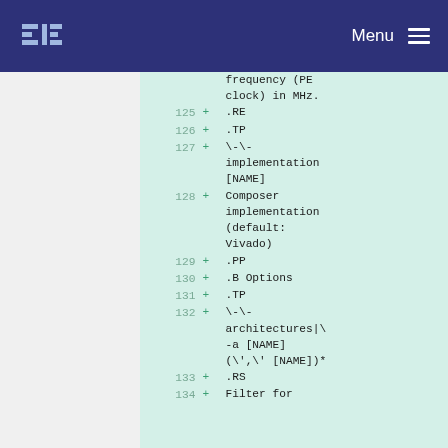Menu
frequency (PE clock) in MHz.
125 + .RE
126 + .TP
127 + \-\-implementation [NAME]
128 + Composer implementation (default: Vivado)
129 + .PP
130 + .B Options
131 + .TP
132 + \-\-architectures|\-a [NAME] (\',\' [NAME])*
133 + .RS
134 + Filter for